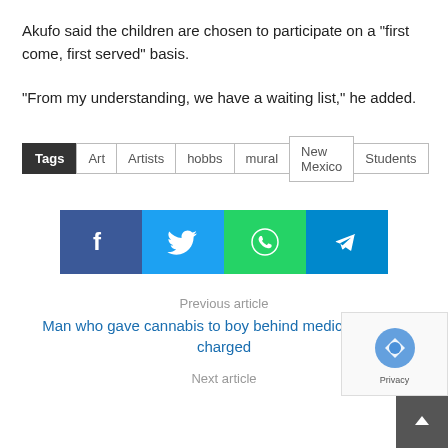Akufo said the children are chosen to participate on a “first come, first served” basis.
“From my understanding, we have a waiting list,” he added.
Tags: Art | Artists | hobbs | mural | New Mexico | Students
[Figure (other): Social share buttons: Facebook, Twitter, WhatsApp, Telegram]
Previous article
Man who gave cannabis to boy behind medical pot law charged
Next article